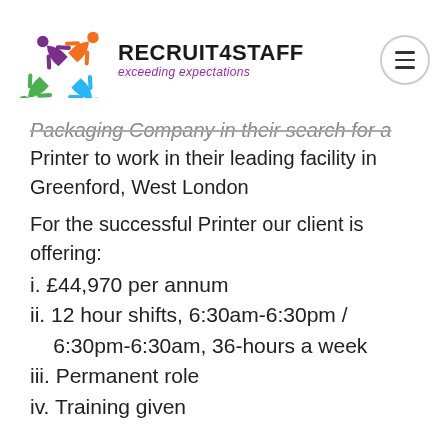[Figure (logo): Recruit4Staff logo: colorful star/person shapes in purple, orange, green, blue, with text RECRUIT4STAFF and tagline exceeding expectations]
Packaging Company in their search for a Printer to work in their leading facility in Greenford, West London
For the successful Printer our client is offering:
i.  £44,970 per annum
ii.  12 hour shifts, 6:30am-6:30pm / 6:30pm-6:30am, 36-hours a week
iii.  Permanent role
iv.  Training given